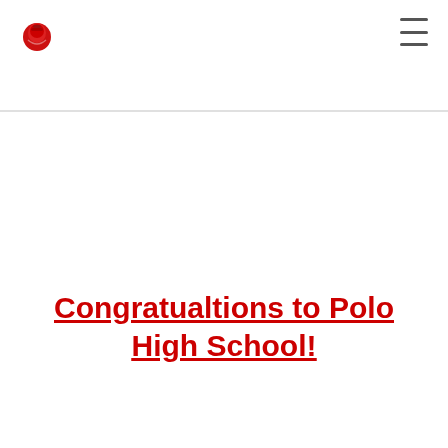Congratualtions to Polo High School!
Congratulations to both Orangeville High School and Polo High School on a Great 2021 Championship Game and Season. Congratulations to the defending Champion Polo Marcos on your 13 to 7 victory.